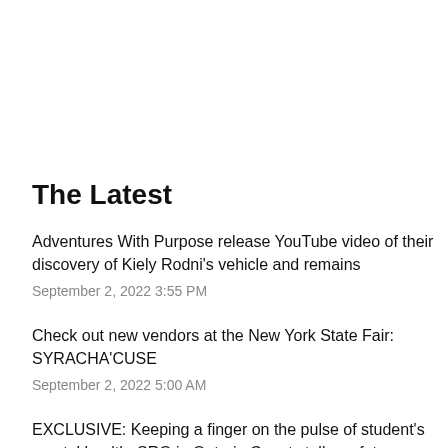The Latest
Adventures With Purpose release YouTube video of their discovery of Kiely Rodni's vehicle and remains
September 2, 2022 3:55 PM
Check out new vendors at the New York State Fair: SYRACHA'CUSE
September 2, 2022 5:00 AM
EXCLUSIVE: Keeping a finger on the pulse of student's mental health: SRO in Ontario County talks safety measures (video)